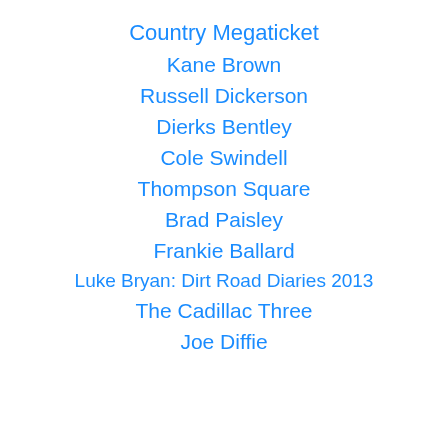Country Megaticket
Kane Brown
Russell Dickerson
Dierks Bentley
Cole Swindell
Thompson Square
Brad Paisley
Frankie Ballard
Luke Bryan: Dirt Road Diaries 2013
The Cadillac Three
Joe Diffie